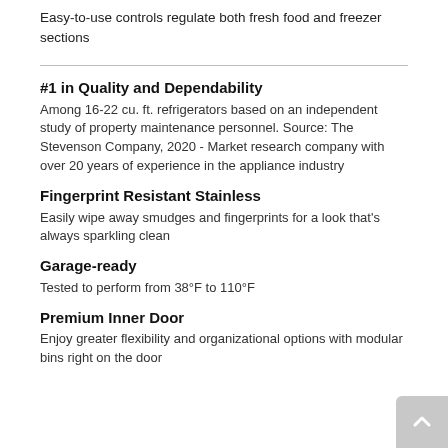Easy-to-use controls regulate both fresh food and freezer sections
#1 in Quality and Dependability
Among 16-22 cu. ft. refrigerators based on an independent study of property maintenance personnel. Source: The Stevenson Company, 2020 - Market research company with over 20 years of experience in the appliance industry
Fingerprint Resistant Stainless
Easily wipe away smudges and fingerprints for a look that's always sparkling clean
Garage-ready
Tested to perform from 38°F to 110°F
Premium Inner Door
Enjoy greater flexibility and organizational options with modular bins right on the door